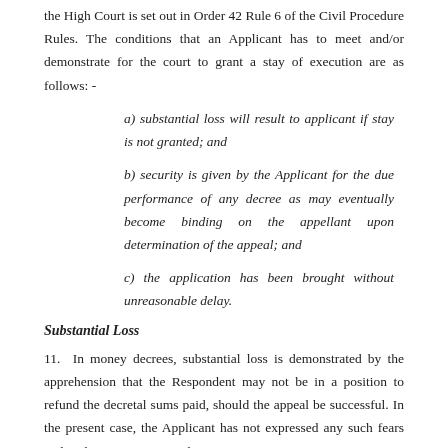the High Court is set out in Order 42 Rule 6 of the Civil Procedure Rules. The conditions that an Applicant has to meet and/or demonstrate for the court to grant a stay of execution are as follows: -
a) substantial loss will result to applicant if stay is not granted; and
b) security is given by the Applicant for the due performance of any decree as may eventually become binding on the appellant upon determination of the appeal; and
c) the application has been brought without unreasonable delay.
Substantial Loss
11.  In money decrees, substantial loss is demonstrated by the apprehension that the Respondent may not be in a position to refund the decretal sums paid, should the appeal be successful. In the present case, the Applicant has not expressed any such fears and in the circumstances, the Court